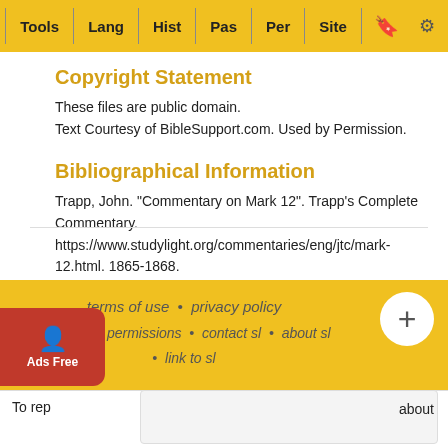Tools  Lang  Hist  Pas  Per  Site
Copyright Statement
These files are public domain.
Text Courtesy of BibleSupport.com. Used by Permission.
Bibliographical Information
Trapp, John. "Commentary on Mark 12". Trapp's Complete Commentary. https://www.studylight.org/commentaries/eng/jtc/mark-12.html. 1865-1868.
terms of use • privacy policy • rights and permissions • contact sl • about sl • link to sl
Ads Free
To rep... about